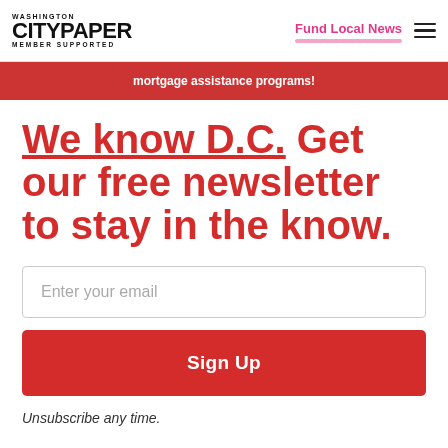WASHINGTON CITYPAPER MEMBER SUPPORTED
Fund Local News
[Figure (other): Ad banner with red background showing partial text about mortgage assistance programs]
We know D.C. Get our free newsletter to stay in the know.
Enter your email
Sign Up
Unsubscribe any time.